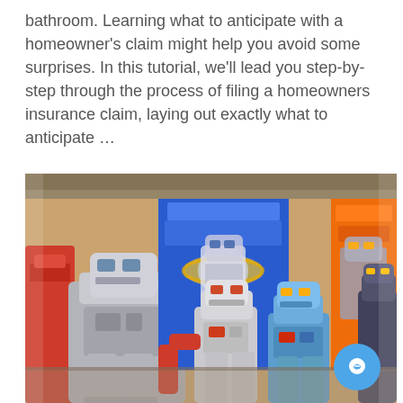bathroom. Learning what to anticipate with a homeowner's claim might help you avoid some surprises. In this tutorial, we'll lead you step-by-step through the process of filing a homeowners insurance claim, laying out exactly what to anticipate …
[Figure (photo): A collection of vintage toy robots displayed together, including silver and colorful robot figures with box packaging visible in the background showing robot illustrations. The robots are metallic tin toys in various sizes and colors.]